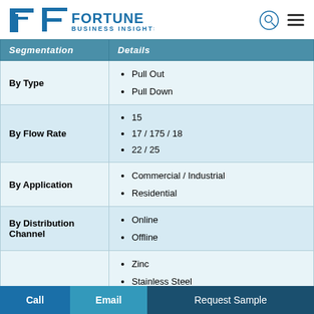[Figure (logo): Fortune Business Insights logo with stylized F icon and company name]
| Segmentation | Details |
| --- | --- |
| By Type | Pull Out
Pull Down |
| By Flow Rate | 15
17 / 175 / 18
22 / 25 |
| By Application | Commercial / Industrial
Residential |
| By Distribution Channel | Online
Offline |
|  | Zinc
Stainless Steel |
Call   Email   Request Sample